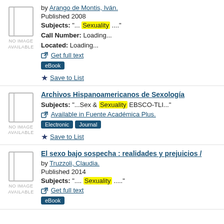by Arango de Montis, Iván.
Published 2008
Subjects: "... Sexuality ...."
Call Number: Loading...
Located: Loading...
Get full text
eBook
Save to List
Archivos Hispanoamericanos de Sexología
Subjects: "...Sex & Sexuality EBSCO-TLI..."
Available in Fuente Académica Plus.
Electronic  Journal
Save to List
El sexo bajo sospecha : realidades y prejuicios /
by Truzzoli, Claudia.
Published 2014
Subjects: ".... Sexuality ....."
Get full text
eBook